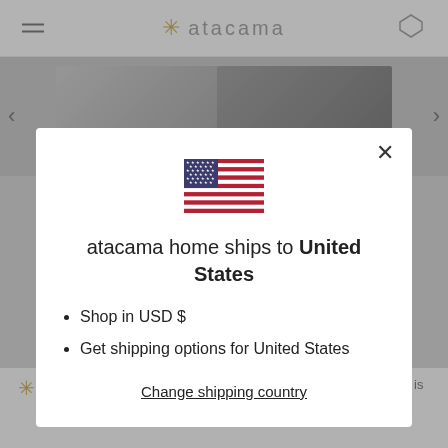* atacama
[Figure (screenshot): Website modal dialog on atacama home e-commerce site showing US flag and shipping information for United States]
atacama home ships to United States
Shop in USD $
Get shipping options for United States
Change shipping country
Beauty can change the world and beauty expressed in behavior is called kindness. So create it, absorb it, share it.